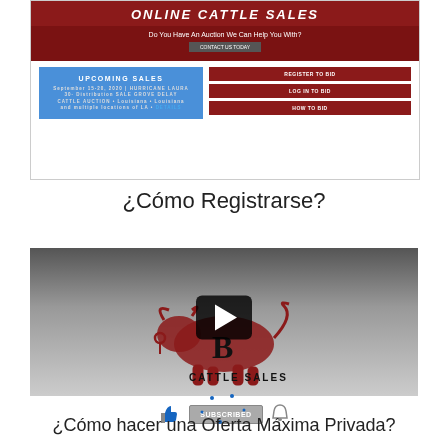[Figure (screenshot): Screenshot of an online cattle sales website showing header, subtitle bar with 'Do You Have An Auction We Can Help You With?', a Contact Us Today button, an Upcoming Sales blue panel, and three dark red buttons (Register to Bid, Log in to Bid, How to Bid).]
¿Cómo Registrarse?
[Figure (screenshot): Video thumbnail with dark gradient background showing BL Cattle Sales logo (bull silhouette) and a YouTube play button overlay, with like button, Subscribed button, and bell icon below.]
¿Cómo hacer una Oferta Máxima Privada?